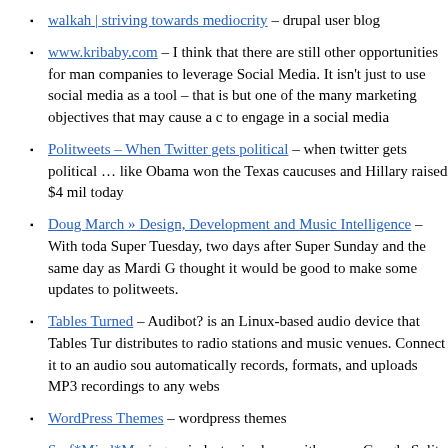walkah | striving towards mediocrity – drupal user blog
www.kribaby.com – I think that there are still other opportunities for many companies to leverage Social Media. It isn't just to use social media as a tool – that is but one of the many marketing objectives that may cause a company to engage in a social media
Politweets – When Twitter gets political – when twitter gets political … like Obama won the Texas caucuses and Hillary raised $4 mil today
Doug March » Design, Development and Music Intelligence – With today being Super Tuesday, two days after Super Sunday and the same day as Mardi Gras, I thought it would be good to make some updates to politweets.
Tables Turned – Audibot? is an Linux-based audio device that Tables Turned distributes to radio stations and music venues. Connect it to an audio source, it automatically records, formats, and uploads MP3 recordings to any webs
WordPress Themes – wordpress themes
Surf*Mind*Musings – industry is abuzz with a new Google Split test that puts a site search box underneath the first result, for a small set of navigational queries. The blogdom analysis has been rather shallow of this feature, so let me b